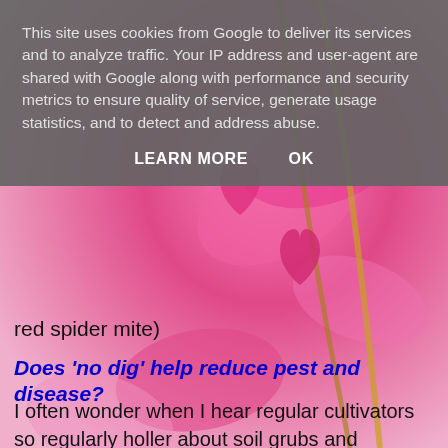[Figure (photo): Pink bleeding heart flowers (Lamprocapnos spectabilis) with stems against a white/light background, filling the page behind the text content.]
This site uses cookies from Google to deliver its services and to analyze traffic. Your IP address and user-agent are shared with Google along with performance and security metrics to ensure quality of service, generate usage statistics, and to detect and address abuse.
LEARN MORE   OK
red spider mite)
Does ‘no dig’ help reduce pest and disease?
I often wonder when I hear regular cultivators so regularly holler about soil grubs and infections. Things like flee beetle I never see. I wonder how might fluffed up soil provide a suitable pest environment and how many many pest predators cultivation deters. What are the implications of all that shredded mycorrhiza? What too are the implications of roots damaged by digging?
Of course I argue that minimum cultivation makes for healthy plants.